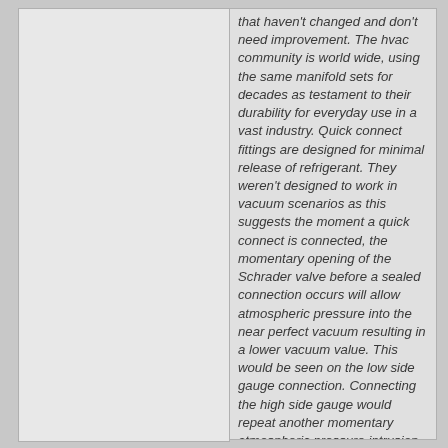that haven't changed and don't need improvement. The hvac community is world wide, using the same manifold sets for decades as testament to their durability for everyday use in a vast industry. Quick connect fittings are designed for minimal release of refrigerant. They weren't designed to work in vacuum scenarios as this suggests the moment a quick connect is connected, the momentary opening of the Schrader valve before a sealed connection occurs will allow atmospheric pressure into the near perfect vacuum resulting in a lower vacuum value. This would be seen on the low side gauge connection. Connecting the high side gauge would repeat another momentary atmospheric pressure intrusion into this vacuum. It's presumed valves are in working condition and...